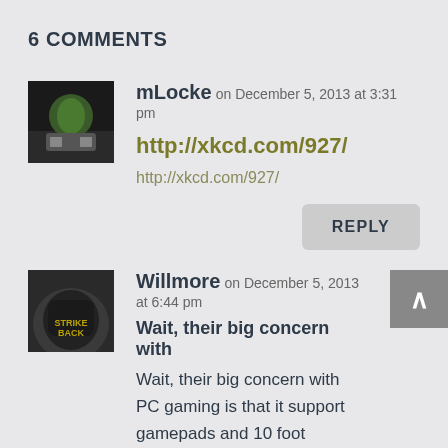6 COMMENTS
mLocke on December 5, 2013 at 3:31 pm
http://xkcd.com/927/
http://xkcd.com/927/
REPLY
Willmore on December 5, 2013 at 6:44 pm
Wait, their big concern with
Wait, their big concern with PC gaming is that it support gamepads and 10 foot interfaces? I'm sorry, did you mean to say Console Gaming Alliance?